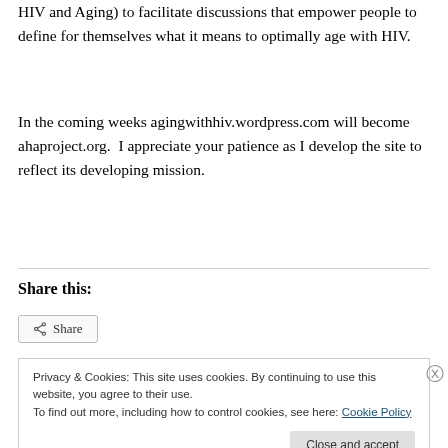HIV and Aging) to facilitate discussions that empower people to define for themselves what it means to optimally age with HIV.
In the coming weeks agingwithhiv.wordpress.com will become ahaproject.org.  I appreciate your patience as I develop the site to reflect its developing mission.
Share this:
Share
Privacy & Cookies: This site uses cookies. By continuing to use this website, you agree to their use.
To find out more, including how to control cookies, see here: Cookie Policy
Close and accept